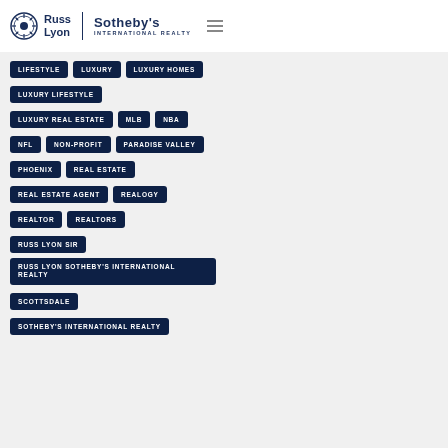[Figure (logo): Russ Lyon Sotheby's International Realty logo with circular emblem]
LIFESTYLE
LUXURY
LUXURY HOMES
LUXURY LIFESTYLE
LUXURY REAL ESTATE
MLB
NBA
NFL
NON-PROFIT
PARADISE VALLEY
PHOENIX
REAL ESTATE
REAL ESTATE AGENT
REALOGY
REALTOR
REALTORS
RUSS LYON SIR
RUSS LYON SOTHEBY'S INTERNATIONAL REALTY
SCOTTSDALE
SOTHEBY'S INTERNATIONAL REALTY